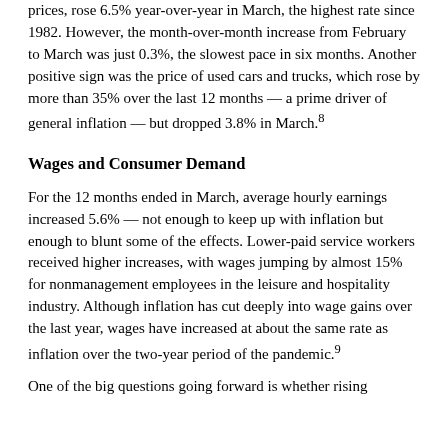prices, rose 6.5% year-over-year in March, the highest rate since 1982. However, the month-over-month increase from February to March was just 0.3%, the slowest pace in six months. Another positive sign was the price of used cars and trucks, which rose by more than 35% over the last 12 months — a prime driver of general inflation — but dropped 3.8% in March.8
Wages and Consumer Demand
For the 12 months ended in March, average hourly earnings increased 5.6% — not enough to keep up with inflation but enough to blunt some of the effects. Lower-paid service workers received higher increases, with wages jumping by almost 15% for nonmanagement employees in the leisure and hospitality industry. Although inflation has cut deeply into wage gains over the last year, wages have increased at about the same rate as inflation over the two-year period of the pandemic.9
One of the big questions going forward is whether rising